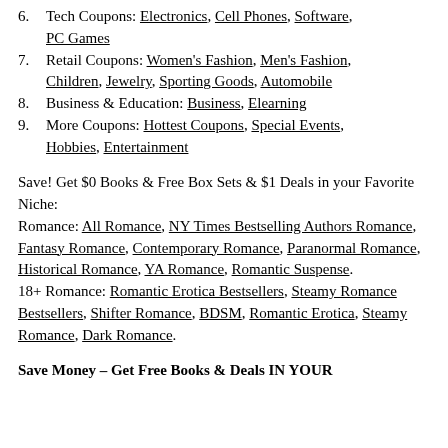6. Tech Coupons: Electronics, Cell Phones, Software, PC Games
7. Retail Coupons: Women's Fashion, Men's Fashion, Children, Jewelry, Sporting Goods, Automobile
8. Business & Education: Business, Elearning
9. More Coupons: Hottest Coupons, Special Events, Hobbies, Entertainment
Save! Get $0 Books & Free Box Sets & $1 Deals in your Favorite Niche:
Romance: All Romance, NY Times Bestselling Authors Romance, Fantasy Romance, Contemporary Romance, Paranormal Romance, Historical Romance, YA Romance, Romantic Suspense.
18+ Romance: Romantic Erotica Bestsellers, Steamy Romance Bestsellers, Shifter Romance, BDSM, Romantic Erotica, Steamy Romance, Dark Romance.
Save Money – Get Free Books & Deals IN YOUR